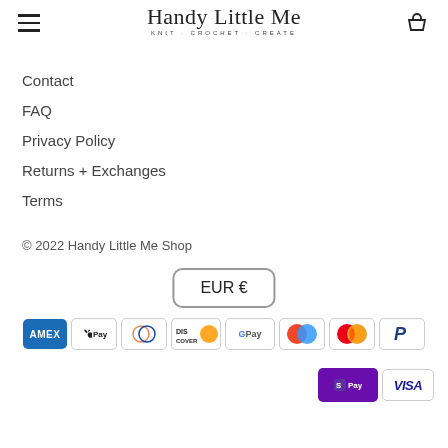Handy Little Me — KNIT · CROCHET · CREATE
Contact
FAQ
Privacy Policy
Returns + Exchanges
Terms
© 2022 Handy Little Me Shop
EUR €
[Figure (other): Payment method icons: American Express, Apple Pay, Diners Club, Discover, Google Pay, Maestro, Mastercard, PayPal, Shop Pay, Visa]